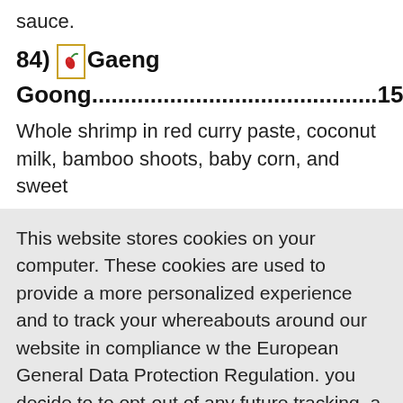sauce.
84) 🌶 Gaeng Goong.............................................15.99
Whole shrimp in red curry paste, coconut milk, bamboo shoots, baby corn, and sweet
This website stores cookies on your computer. These cookies are used to provide a more personalized experience and to track your whereabouts around our website in compliance with the European General Data Protection Regulation. If you decide to to opt-out of any future tracking, a cookie will be setup in your browser to remember this choice for one year.
Accept or Deny